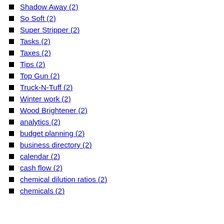Shadow Away (2)
So Soft (2)
Super Stripper (2)
Tasks (2)
Taxes (2)
Tips (2)
Top Gun (2)
Truck-N-Tuff (2)
Winter work (2)
Wood Brightener (2)
analytics (2)
budget planning (2)
business directory (2)
calendar (2)
cash flow (2)
chemical dilution ratios (2)
chemicals (2)